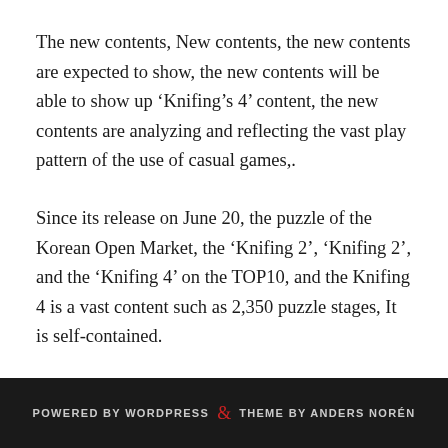The new contents, New contents, the new contents are expected to show, the new contents will be able to show up ‘Knifing’s 4’ content, the new contents are analyzing and reflecting the vast play pattern of the use of casual games,.
Since its release on June 20, the puzzle of the Korean Open Market, the ‘Knifing 2’, ‘Knifing 2’, and the ‘Knifing 4’ on the TOP10, and the Knifing 4 is a vast content such as 2,350 puzzle stages, It is self-contained.
POWERED BY WORDPRESS & THEME BY ANDERS NORÉN